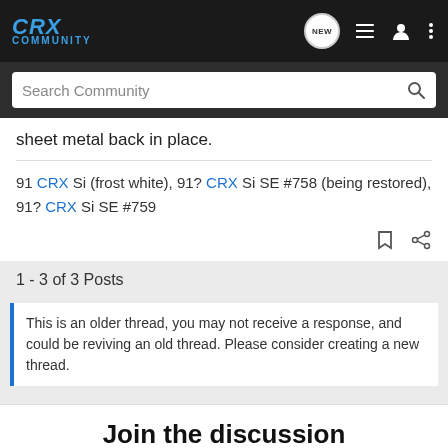CRX Community
sheet metal back in place.
91 CRX Si (frost white), 91? CRX Si SE #758 (being restored), 91? CRX Si SE #759
1 - 3 of 3 Posts
This is an older thread, you may not receive a response, and could be reviving an old thread. Please consider creating a new thread.
Join the discussion